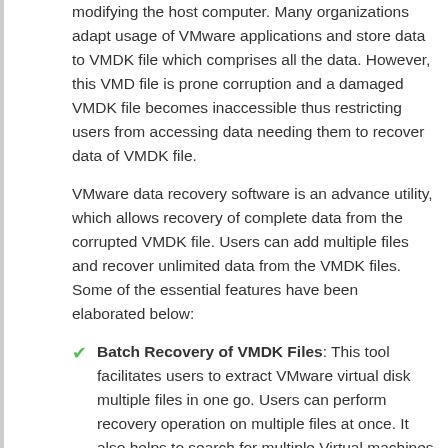modifying the host computer. Many organizations adapt usage of VMware applications and store data to VMDK file which comprises all the data. However, this VMD file is prone corruption and a damaged VMDK file becomes inaccessible thus restricting users from accessing data needing them to recover data of VMDK file.
VMware data recovery software is an advance utility, which allows recovery of complete data from the corrupted VMDK file. Users can add multiple files and recover unlimited data from the VMDK files. Some of the essential features have been elaborated below:
Batch Recovery of VMDK Files: This tool facilitates users to extract VMware virtual disk multiple files in one go. Users can perform recovery operation on multiple files at once. It also helps to search for multiple Virtual machines in the system for scanning.